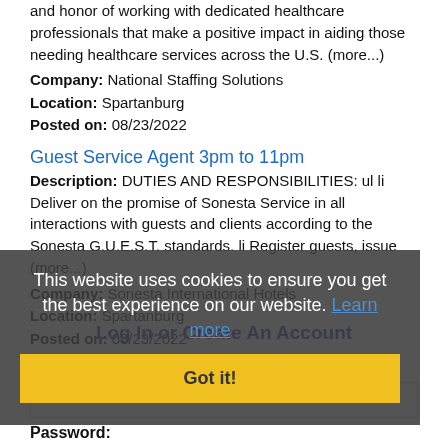and honor of working with dedicated healthcare professionals that make a positive impact in aiding those needing healthcare services across the U.S. (more...)
Company: National Staffing Solutions
Location: Spartanburg
Posted on: 08/23/2022
Guest Service Agent 3pm to 11pm
Description: DUTIES AND RESPONSIBILITIES: ul li Deliver on the promise of Sonesta Service in all interactions with guests and clients according to the Sonesta G.U.E.S.T. standards. li Register guests, issue (more...)
Company: Sonesta International Hotels
Location: Spartanburg
Posted on: 08/23/2022
Loading more jobs...
This website uses cookies to ensure you get the best experience on our website. Learn more
Got it!
Log In or Create An Account
Username:
Password: